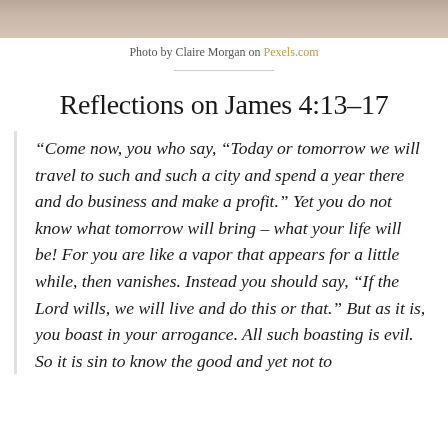[Figure (photo): Top portion of a photo, likely fabric or soft texture, muted beige/gray tones]
Photo by Claire Morgan on Pexels.com
Reflections on James 4:13–17
“Come now, you who say, “Today or tomorrow we will travel to such and such a city and spend a year there and do business and make a profit.” Yet you do not know what tomorrow will bring – what your life will be! For you are like a vapor that appears for a little while, then vanishes. Instead you should say, “If the Lord wills, we will live and do this or that.” But as it is, you boast in your arrogance. All such boasting is evil. So it is sin to know the good and yet not to